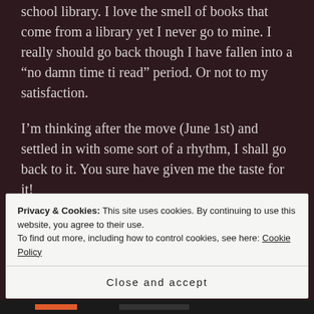school library. I love the smell of books that come from a library yet I never go to mine. I really should go back though I have fallen into a “no damn time ti read” period. Or not to my satisfaction.
I’m thinking after the move (June 1st) and settled in with some sort of a rhythm, I shall go back to it. You sure have given me the taste for it!
Sadly, neither of my boys inherited my gene – which my sisters and I got from
Privacy & Cookies: This site uses cookies. By continuing to use this website, you agree to their use.
To find out more, including how to control cookies, see here: Cookie Policy
Close and accept